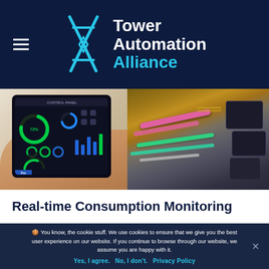Tower Automation Alliance
[Figure (photo): Person holding a tablet with industrial monitoring dashboard UI on the left; colorful industrial wiring/electronics on the right]
Real-time Consumption Monitoring
🍪 You know, the cookie stuff. We use cookies to ensure that we give you the best user experience on our website. If you continue to browse through our website, we assume you are happy with it.
Yes, I agree.   No, I don't.   Privacy Policy